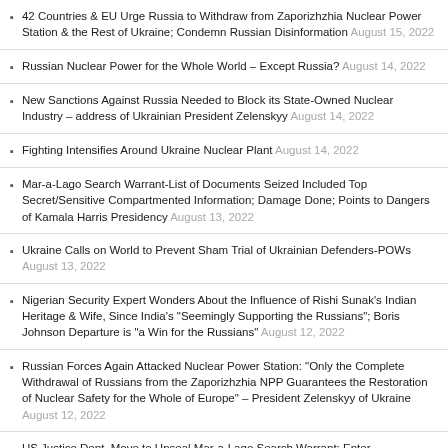42 Countries & EU Urge Russia to Withdraw from Zaporizhzhia Nuclear Power Station & the Rest of Ukraine; Condemn Russian Disinformation August 15, 2022
Russian Nuclear Power for the Whole World – Except Russia? August 14, 2022
New Sanctions Against Russia Needed to Block its State-Owned Nuclear Industry – address of Ukrainian President Zelenskyy August 14, 2022
Fighting Intensifies Around Ukraine Nuclear Plant August 14, 2022
Mar-a-Lago Search Warrant-List of Documents Seized Included Top Secret/Sensitive Compartmented Information; Damage Done; Points to Dangers of Kamala Harris Presidency August 13, 2022
Ukraine Calls on World to Prevent Sham Trial of Ukrainian Defenders-POWs August 13, 2022
Nigerian Security Expert Wonders About the Influence of Rishi Sunak's Indian Heritage & Wife, Since India's "Seemingly Supporting the Russians"; Boris Johnson Departure is "a Win for the Russians" August 12, 2022
Russian Forces Again Attacked Nuclear Power Station: "Only the Complete Withdrawal of Russians from the Zaporizhzhia NPP Guarantees the Restoration of Nuclear Safety for the Whole of Europe" – President Zelenskyy of Ukraine August 12, 2022
US Justice Dept. Move to Unseal Mar-a-Lago Search Warrant; Enter…